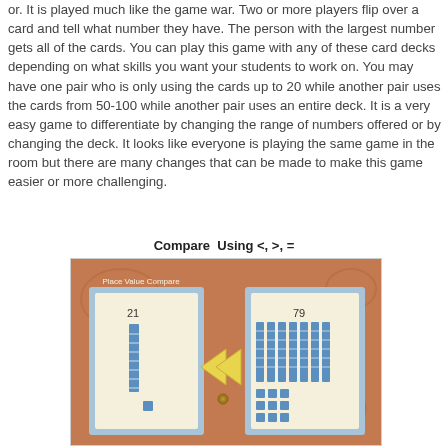or. It is played much like the game war. Two or more players flip over a card and tell what number they have. The person with the largest number gets all of the cards. You can play this game with any of these card decks depending on what skills you want your students to work on. You may have one pair who is only using the cards up to 20 while another pair uses the cards from 50-100 while another pair uses an entire deck. It is a very easy game to differentiate by changing the range of numbers offered or by changing the deck. It looks like everyone is playing the same game in the room but there are many changes that can be made to make this game easier or more challenging.
Compare  Using <, >, =
[Figure (photo): A photo of a Place Value Compare card game showing two cards on a terracotta/brown background. The left card shows the number 21 with base-ten blocks (2 tens rods and 1 unit). The right card shows the number 79 with base-ten blocks (7 tens rods and 9 units). Between the cards is a yellow cardstock 'less than' symbol (<) fastened with a brass brad, used as a comparison indicator.]